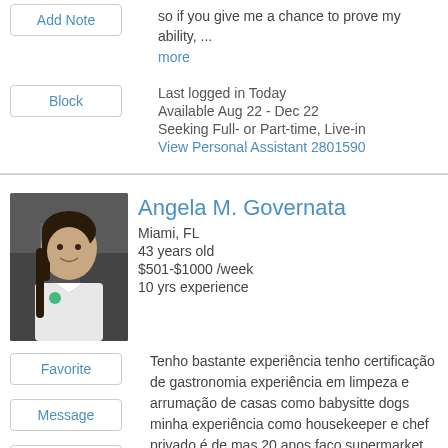so if you give me a chance to prove my ability, ... more
Add Note
Block
Last logged in Today
Available Aug 22 - Dec 22
Seeking Full- or Part-time, Live-in
View Personal Assistant 2801590
Angela M. Governata
Miami, FL
43 years old
$501-$1000 /week
10 yrs experience
Favorite
Message
Add Note
Tenho bastante experiência tenho certificação de gastronomia experiência em limpeza e arrumação de casas como babysitte dogs minha experiência como housekeeper e chef privado é de mas 20 anos faço supermarket etc etc ...